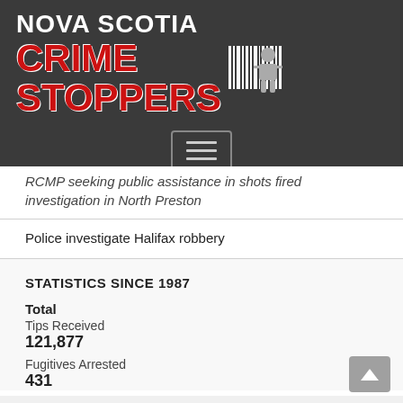[Figure (logo): Nova Scotia Crime Stoppers logo with red CRIME STOPPERS text, white NOVA SCOTIA text, barcode and figure icon, on dark gray background]
RCMP seeking public assistance in shots fired investigation in North Preston
Police investigate Halifax robbery
STATISTICS SINCE 1987
Total
Tips Received
121,877
Fugitives Arrested
431